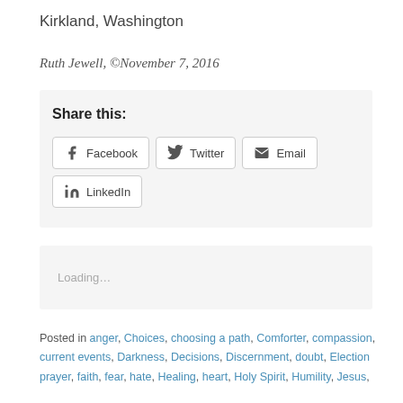Kirkland, Washington
Ruth Jewell, ©November 7, 2016
Share this: [Facebook] [Twitter] [Email] [LinkedIn]
Loading…
Posted in anger, Choices, choosing a path, Comforter, compassion, current events, Darkness, Decisions, Discernment, doubt, Election prayer, faith, fear, hate, Healing, heart, Holy Spirit, Humility, Jesus,